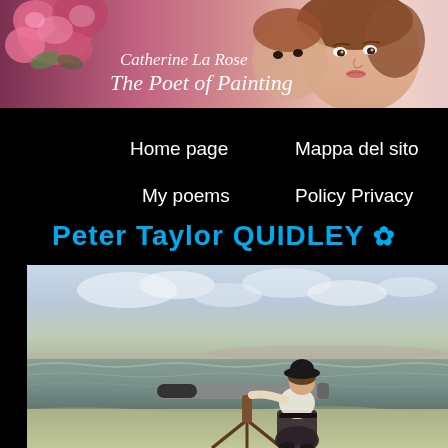[Figure (illustration): Header banner for 'Catherine La Rose – The Poet of Painting' website. Decorative illustration of a woman with roses and pink floral elements, with italic white text overlay.]
Catherine La Rose
The Poet of Painting
Home page
Mappa del sito
My poems
Policy Privacy
Peter Taylor QUIDLEY 🌸
[Figure (illustration): Painting depicting a woman in early 20th century clothing (white blouse, dark skirt, black hat) using a large telescope on a tripod at a seaside beach, with ocean waves and cloudy sky in the background. Style is realistic oil painting.]